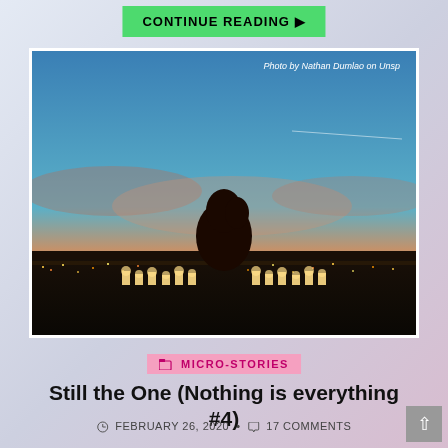CONTINUE READING ▶
[Figure (photo): A couple sitting together on a rooftop at sunset, surrounded by lit candles in the foreground, with a city skyline visible in the background. The sky transitions from blue at the top to warm orange and red near the horizon. Photo credit: Photo by Nathan Dumlao on Unsplash]
Photo by Nathan Dumlao on Unsplash
MICRO-STORIES
Still the One (Nothing is everything #4)
FEBRUARY 26, 2020  •  17 COMMENTS